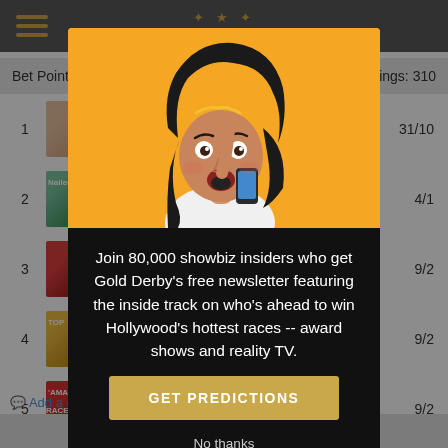Bet Points | ings: 310
1  31/10
2  4/1
3  9/2
4  9/2
5  9/2
[Figure (photo): Modal popup overlay showing a surprised woman with dark hair looking at a phone, yellow/orange background. Below the image is promotional text and a gold button.]
Join 80,000 showbiz insiders who get Gold Derby's free newsletter featuring the inside track on who's ahead to win Hollywood's hottest races -- award shows and reality TV.
GET PREDICTIONS
No thanks